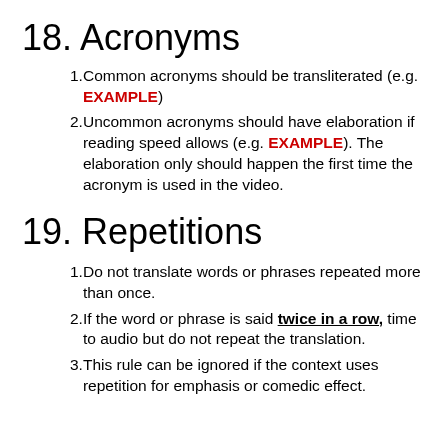18. Acronyms
Common acronyms should be transliterated (e.g. EXAMPLE)
Uncommon acronyms should have elaboration if reading speed allows (e.g. EXAMPLE). The elaboration only should happen the first time the acronym is used in the video.
19. Repetitions
Do not translate words or phrases repeated more than once.
If the word or phrase is said twice in a row, time to audio but do not repeat the translation.
This rule can be ignored if the context uses repetition for emphasis or comedic effect.